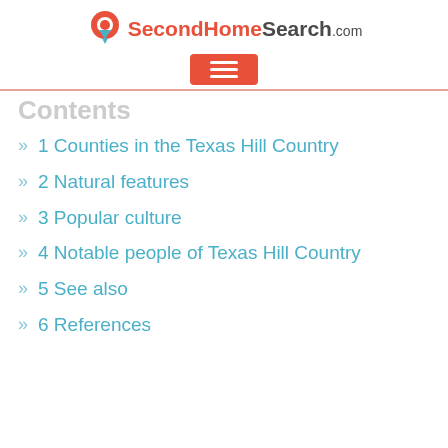[Figure (logo): SecondHomeSearch.com logo with house/pin icon in red/coral and text]
[Figure (other): Red/coral hamburger menu button with three white horizontal lines]
Contents
1 Counties in the Texas Hill Country
2 Natural features
3 Popular culture
4 Notable people of Texas Hill Country
5 See also
6 References